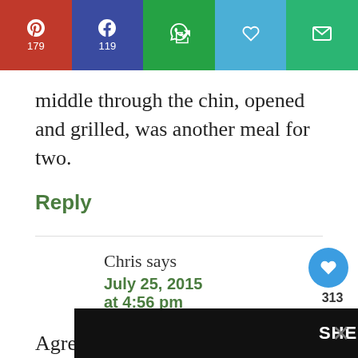[Figure (infographic): Social share bar with Pinterest (179), Facebook (119), WhatsApp, Heart, and Email buttons]
middle through the chin, opened and grilled, was another meal for two.
Reply
Chris says
July 25, 2015 at 4:56 pm
Agreed – the collars are the best part of the fish.
[Figure (infographic): SHE CAN STEM advertisement banner at bottom of page]